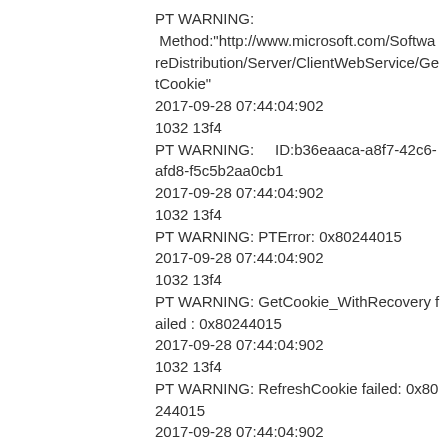PT WARNING:
 Method:"http://www.microsoft.com/SoftwareDistribution/Server/ClientWebService/GetCookie"
2017-09-28 07:44:04:902
1032 13f4
PT WARNING:     ID:b36eaaca-a8f7-42c6-afd8-f5c5b2aa0cb1
2017-09-28 07:44:04:902
1032 13f4
PT WARNING: PTError: 0x80244015
2017-09-28 07:44:04:902
1032 13f4
PT WARNING: GetCookie_WithRecovery failed : 0x80244015
2017-09-28 07:44:04:902
1032 13f4
PT WARNING: RefreshCookie failed: 0x80244015
2017-09-28 07:44:04:902